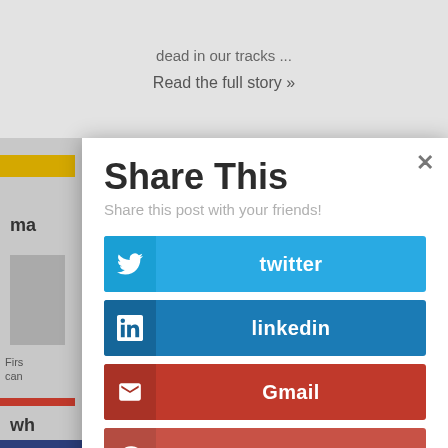dead in our tracks …
Read the full story »
Share This
Share this post with your friends!
twitter
linkedin
Gmail
googleplus
pinterest
facebook